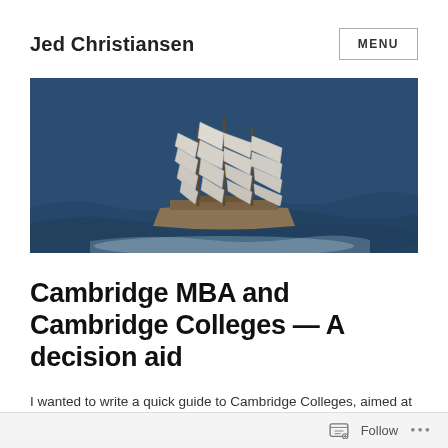Jed Christiansen
[Figure (photo): Aerial view of a sailing ship with multiple large white sails on dark blue ocean water]
Cambridge MBA and Cambridge Colleges — A decision aid
I wanted to write a quick guide to Cambridge Colleges, aimed at people accepted into the Cambridge MBA
Follow ...